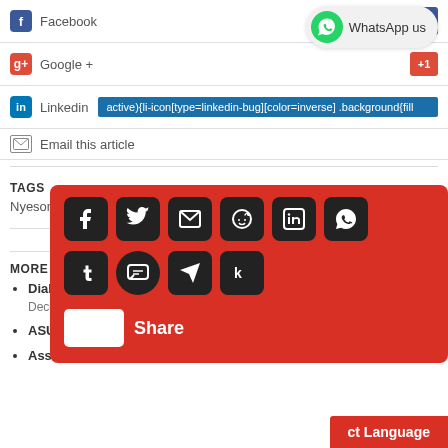[Figure (screenshot): Social share bar showing Facebook with count 0]
[Figure (screenshot): WhatsApp us floating bubble]
[Figure (screenshot): Google + social share row with red button]
[Figure (screenshot): LinkedIn social share row with blue highlighted CSS code text]
Email this article
TAGS
Nyesom Wike, Policemen, Rivers states
MORE
Diabetes Not Caused By Sugar, Can Be cured – Amukele - December 7...
ASUP Drag... Unqualified Rectors - Ju...
Assembled-... novation," Says Osinbajo - J...
[Figure (screenshot): Red share overlay with social media icon buttons (facebook, twitter, email, reddit, linkedin, whatsapp, tumblr, sms, telegram, klout) and Share label]